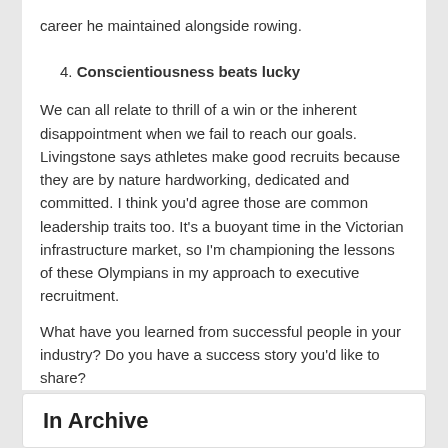career he maintained alongside rowing.
4. Conscientiousness beats lucky
We can all relate to thrill of a win or the inherent disappointment when we fail to reach our goals. Livingstone says athletes make good recruits because they are by nature hardworking, dedicated and committed. I think you'd agree those are common leadership traits too. It's a buoyant time in the Victorian infrastructure market, so I'm championing the lessons of these Olympians in my approach to executive recruitment.
What have you learned from successful people in your industry? Do you have a success story you'd like to share?
In Archive